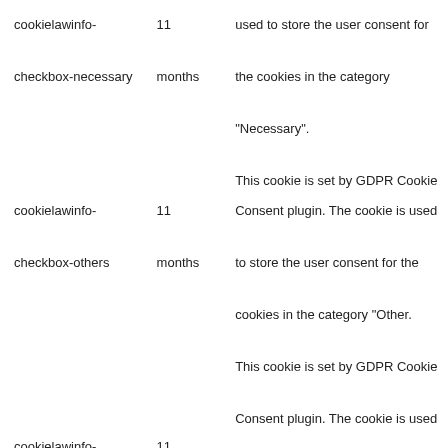| Cookie | Duration | Description |
| --- | --- | --- |
| cookielawinfo-checkbox-necessary | 11 months | used to store the user consent for the cookies in the category "Necessary". This cookie is set by GDPR Cookie Consent plugin. The cookie is used |
| cookielawinfo-checkbox-others | 11 months | to store the user consent for the cookies in the category "Other. This cookie is set by GDPR Cookie Consent plugin. The cookie is used |
| cookielawinfo- | 11 |  |